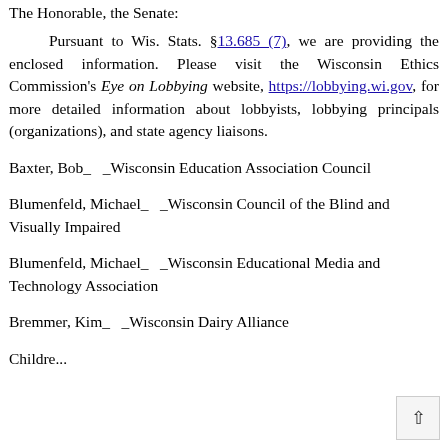The Honorable, the Senate:
Pursuant to Wis. Stats. §13.685 (7), we are providing the enclosed information. Please visit the Wisconsin Ethics Commission's Eye on Lobbying website, https://lobbying.wi.gov, for more detailed information about lobbyists, lobbying principals (organizations), and state agency liaisons.
Baxter, Bob_   _Wisconsin Education Association Council
Blumenfeld, Michael_   _Wisconsin Council of the Blind and Visually Impaired
Blumenfeld, Michael_   _Wisconsin Educational Media and Technology Association
Bremmer, Kim_   _Wisconsin Dairy Alliance
Childre...